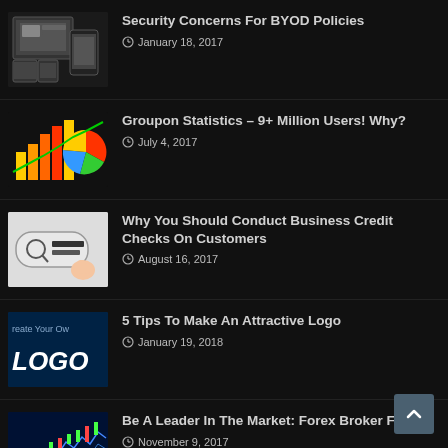[Figure (screenshot): Thumbnail image of devices for BYOD article]
Security Concerns For BYOD Policies
January 18, 2017
[Figure (screenshot): Thumbnail image of bar chart and pie chart for Groupon article]
Groupon Statistics – 9+ Million Users! Why?
July 4, 2017
[Figure (screenshot): Thumbnail image of credit report button]
Why You Should Conduct Business Credit Checks On Customers
August 16, 2017
[Figure (screenshot): Thumbnail image showing Create Your Own Logo text on dark background]
5 Tips To Make An Attractive Logo
January 19, 2018
[Figure (screenshot): Thumbnail image of forex stock chart]
Be A Leader In The Market: Forex Broker F1Pro
November 9, 2017